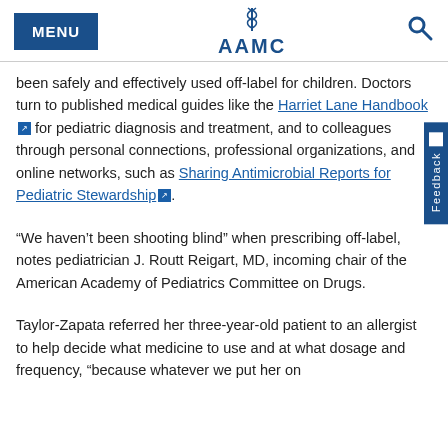MENU | AAMC
been safely and effectively used off-label for children. Doctors turn to published medical guides like the Harriet Lane Handbook for pediatric diagnosis and treatment, and to colleagues through personal connections, professional organizations, and online networks, such as Sharing Antimicrobial Reports for Pediatric Stewardship.
“We haven’t been shooting blind” when prescribing off-label, notes pediatrician J. Routt Reigart, MD, incoming chair of the American Academy of Pediatrics Committee on Drugs.
Taylor-Zapata referred her three-year-old patient to an allergist to help decide what medicine to use and at what dosage and frequency, “because whatever we put her on